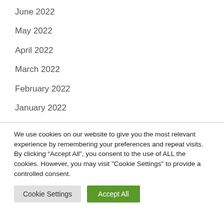June 2022
May 2022
April 2022
March 2022
February 2022
January 2022
We use cookies on our website to give you the most relevant experience by remembering your preferences and repeat visits. By clicking “Accept All”, you consent to the use of ALL the cookies. However, you may visit "Cookie Settings" to provide a controlled consent.